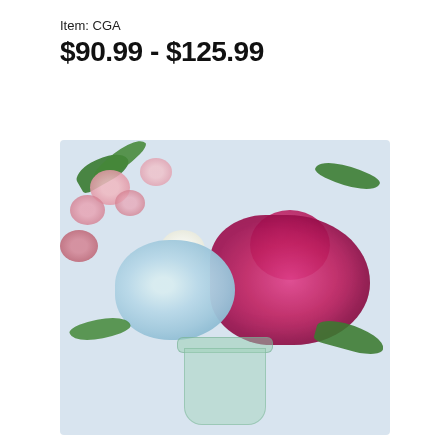Item: CGA
$90.99 - $125.99
[Figure (photo): Floral arrangement in a clear glass vase featuring a large blue hydrangea, magenta and pink carnations or stock flowers, and green foliage, photographed against a light blue-gray background.]